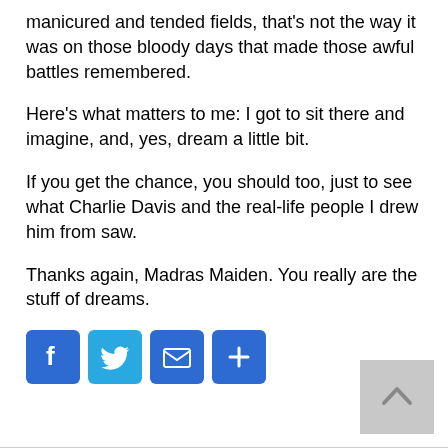manicured and tended fields, that's not the way it was on those bloody days that made those awful battles remembered.
Here's what matters to me: I got to sit there and imagine, and, yes, dream a little bit.
If you get the chance, you should too, just to see what Charlie Davis and the real-life people I drew him from saw.
Thanks again, Madras Maiden. You really are the stuff of dreams.
[Figure (infographic): Social sharing buttons: Facebook, Twitter, Email, Share (plus icon)]
[Figure (infographic): Back to top button with upward chevron arrow, grey background, bottom right]